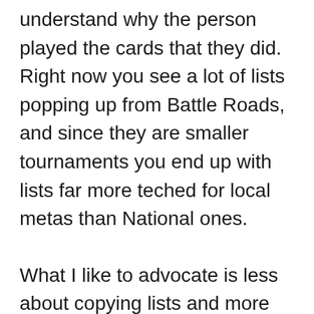understand why the person played the cards that they did. Right now you see a lot of lists popping up from Battle Roads, and since they are smaller tournaments you end up with lists far more teched for local metas than National ones.
What I like to advocate is less about copying lists and more about looking at strategies. When I'm building a deck I'm not very familiar with, sometimes I'll start from the ground up, but many